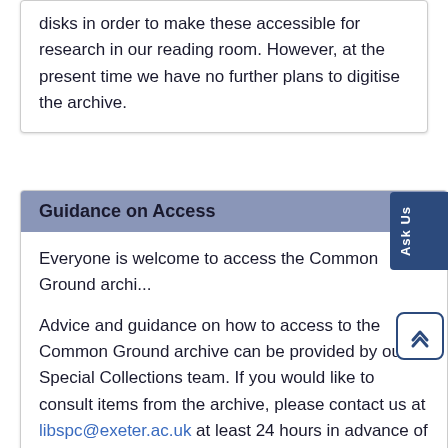disks in order to make these accessible for research in our reading room. However, at the present time we have no further plans to digitise the archive.
Guidance on Access
Everyone is welcome to access the Common Ground archi...
Advice and guidance on how to access to the Common Ground archive can be provided by our Special Collections team. If you would like to consult items from the archive, please contact us at libspc@exeter.ac.uk at least 24 hours in advance of your visit.
As the archive comprises records created and collected between 1982 and 2013, many files in the Common Ground archive contain personal data (information that relates to an identified or identifiable living individual) such as addresses and telephone numbers. Access to these files may be closed